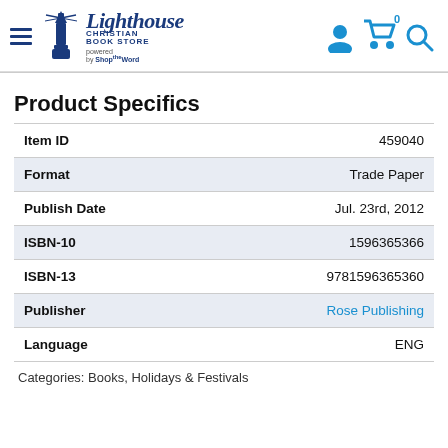Lighthouse Christian Book Store — powered by ShopTheWord
Product Specifics
| Field | Value |
| --- | --- |
| Item ID | 459040 |
| Format | Trade Paper |
| Publish Date | Jul. 23rd, 2012 |
| ISBN-10 | 1596365366 |
| ISBN-13 | 9781596365360 |
| Publisher | Rose Publishing |
| Language | ENG |
Categories: Books, Holidays & Festivals